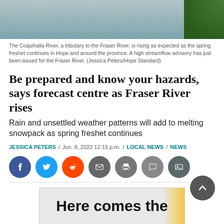[Figure (photo): Photo of the Coquihalla River, showing flowing water with green trees/foliage visible on the upper right]
The Coquihalla River, a tributary to the Fraser River, is rising as expected as the spring freshet continues in Hope and around the province. A high streamflow advisory has just been issued for the Fraser River. (Jessica Peters/Hope Standard)
Be prepared and know your hazards, says forecast centre as Fraser River rises
Rain and unsettled weather patterns will add to melting snowpack as spring freshet continues
JESSICA PETERS / Jun. 8, 2022 12:15 p.m. / LOCAL NEWS / NEWS
[Figure (infographic): Social media share buttons: Facebook, Twitter, Reddit, Email, Print, Comment, Photo]
[Figure (infographic): Advertisement banner reading: Here comes the (sun, partially visible)]